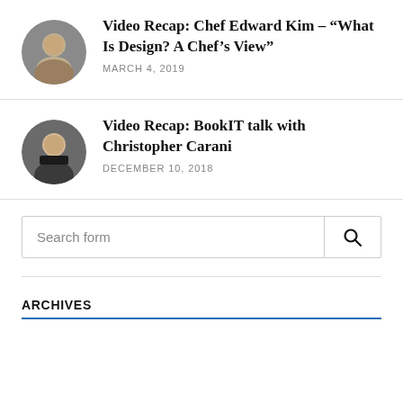[Figure (photo): Circular avatar photo of Chef Edward Kim]
Video Recap: Chef Edward Kim – “What Is Design? A Chef’s View”
MARCH 4, 2019
[Figure (photo): Circular avatar photo of Christopher Carani]
Video Recap: BookIT talk with Christopher Carani
DECEMBER 10, 2018
Search form
ARCHIVES